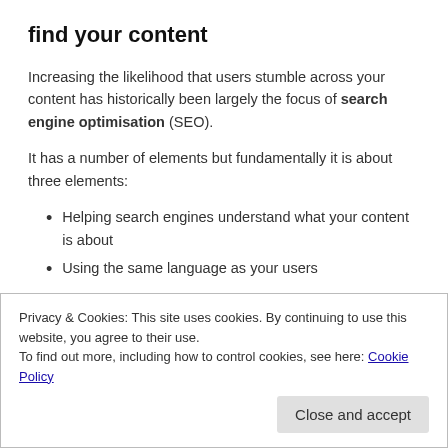find your content
Increasing the likelihood that users stumble across your content has historically been largely the focus of search engine optimisation (SEO).
It has a number of elements but fundamentally it is about three elements:
Helping search engines understand what your content is about
Using the same language as your users
Privacy & Cookies: This site uses cookies. By continuing to use this website, you agree to their use.
To find out more, including how to control cookies, see here: Cookie Policy
Close and accept